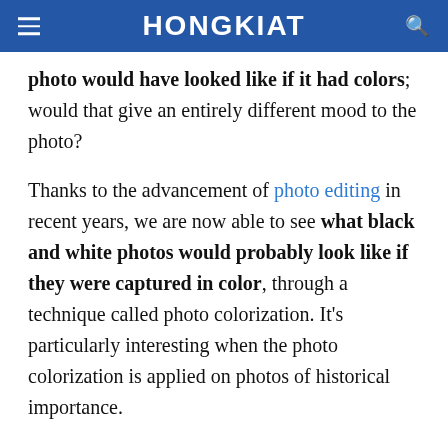HONGKIAT
photo would have looked like if it had colors; would that give an entirely different mood to the photo?
Thanks to the advancement of photo editing in recent years, we are now able to see what black and white photos would probably look like if they were captured in color, through a technique called photo colorization. It’s particularly interesting when the photo colorization is applied on photos of historical importance.
In this post, we are featuring a compilation of 40